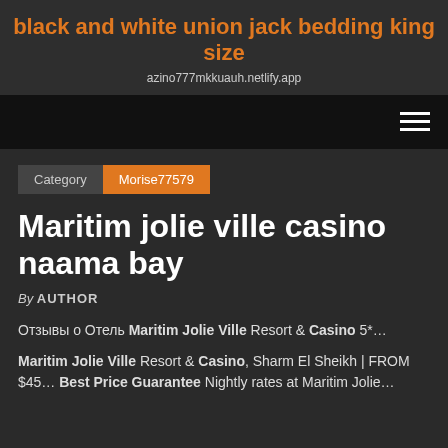black and white union jack bedding king size
azino777mkkuauh.netlify.app
[Figure (other): Navigation bar with hamburger menu icon on dark background]
Category   Morise77579
Maritim jolie ville casino naama bay
By AUTHOR
Отзывы о Отель Maritim Jolie Ville Resort & Casino 5*…
Maritim Jolie Ville Resort & Casino, Sharm El Sheikh | FROM $45… Best Price Guarantee Nightly rates at Maritim Jolie…